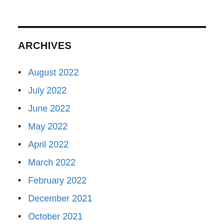ARCHIVES
August 2022
July 2022
June 2022
May 2022
April 2022
March 2022
February 2022
December 2021
October 2021
September 2021
July 2021